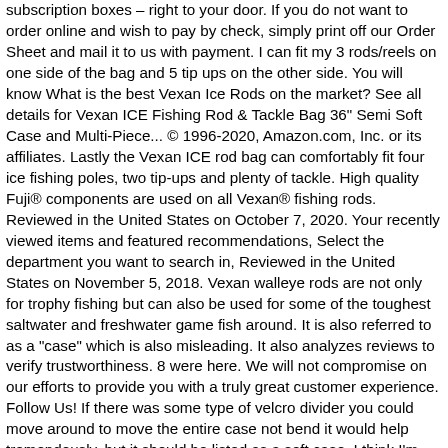subscription boxes – right to your door. If you do not want to order online and wish to pay by check, simply print off our Order Sheet and mail it to us with payment. I can fit my 3 rods/reels on one side of the bag and 5 tip ups on the other side. You will know What is the best Vexan Ice Rods on the market? See all details for Vexan ICE Fishing Rod & Tackle Bag 36" Semi Soft Case and Multi-Piece... © 1996-2020, Amazon.com, Inc. or its affiliates. Lastly the Vexan ICE rod bag can comfortably fit four ice fishing poles, two tip-ups and plenty of tackle. High quality Fuji® components are used on all Vexan® fishing rods. Reviewed in the United States on October 7, 2020. Your recently viewed items and featured recommendations, Select the department you want to search in, Reviewed in the United States on November 5, 2018. Vexan walleye rods are not only for trophy fishing but can also be used for some of the toughest saltwater and freshwater game fish around. It is also referred to as a "case" which is also misleading. It also analyzes reviews to verify trustworthiness. 8 were here. We will not compromise on our efforts to provide you with a truly great customer experience. Follow Us! If there was some type of velcro divider you could move around to move the entire case not bend it would help tremendously, but it should be listed as a soft case. I think I'm going to get another for my ice rods. VEXAN ® ICE Fishing Rods:. From the industry leading rod manufacturer, offering top quality, affordable fishing rods, Vexan Fishing has released their Inshore Rods lineup! My only complaint